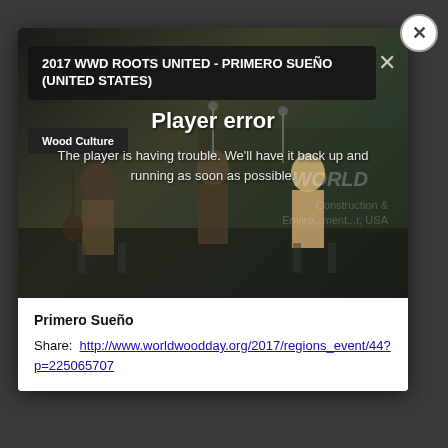The player is having trouble. We'll have it back up and running as soon as possible.
[Figure (screenshot): Video player modal showing a music performance with musicians on stage at a World Wood Day event. A player error overlay is displayed.]
2017 WWD ROOTS UNITED - PRIMERO SUEÑO (UNITED STATES)
Wood Culture
Player error
The player is having trouble. We'll have it back up and running as soon as possible.
Primero Sueño
Share:  http://www.worldwoodday.org/2017/regions_event/44?p=225065707